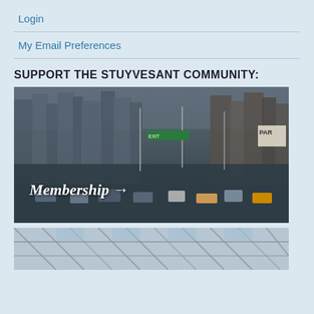Login
My Email Preferences
SUPPORT THE STUYVESANT COMMUNITY:
[Figure (photo): City street scene with heavy traffic, tall buildings, and street lights. Text overlay reads 'Membership →' in italic white font.]
[Figure (photo): Partial view of a steel structure/bridge with glass ceiling, cropped at bottom of page.]